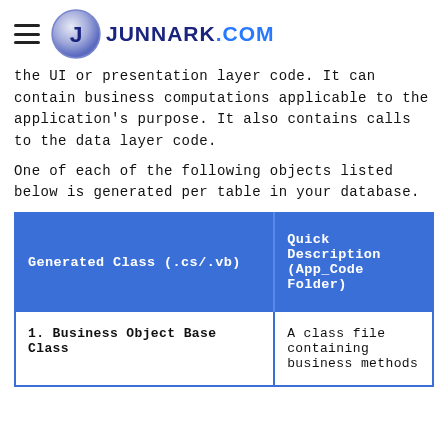JUNNARK.COM
the UI or presentation layer code. It can contain business computations applicable to the application's purpose. It also contains calls to the data layer code.
One of each of the following objects listed below is generated per table in your database.
| Generated Class (.cs/.vb) | Quick Description (App_Code Folder) |
| --- | --- |
| 1. Business Object Base Class | A class file containing business methods |